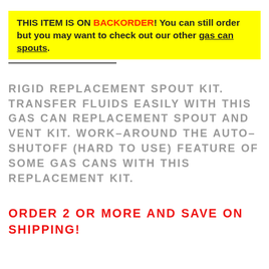THIS ITEM IS ON BACKORDER! You can still order but you may want to check out our other gas can spouts.
RIGID REPLACEMENT SPOUT KIT. TRANSFER FLUIDS EASILY WITH THIS GAS CAN REPLACEMENT SPOUT AND VENT KIT. WORK-AROUND THE AUTO-SHUTOFF (HARD TO USE) FEATURE OF SOME GAS CANS WITH THIS REPLACEMENT KIT.
ORDER 2 OR MORE AND SAVE ON SHIPPING!